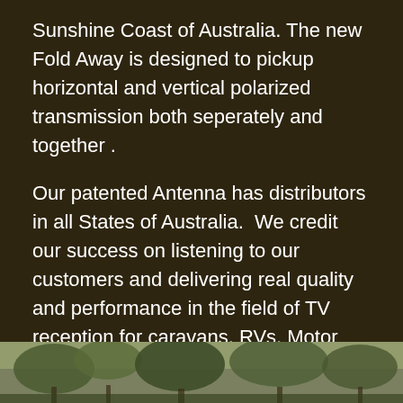Sunshine Coast of Australia. The new Fold Away is designed to pickup horizontal and vertical polarized transmission both seperately and together .
Our patented Antenna has distributors in all States of Australia.  We credit our success on listening to our customers and delivering real quality and performance in the field of TV reception for caravans, RVs, Motor homes and als transportable buildings
FIND OUT MORE
[Figure (photo): Outdoor photo showing trees and vegetation with green foliage]